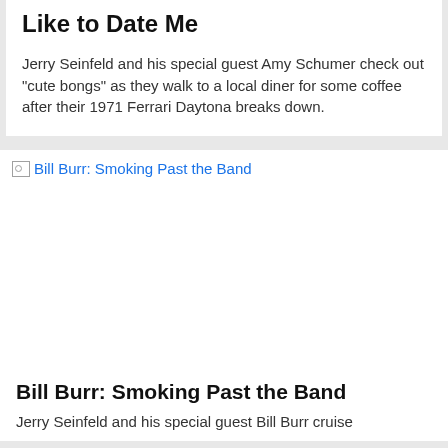Like to Date Me
Jerry Seinfeld and his special guest Amy Schumer check out "cute bongs" as they walk to a local diner for some coffee after their 1971 Ferrari Daytona breaks down.
[Figure (photo): Broken image placeholder with link text: Bill Burr: Smoking Past the Band]
Bill Burr: Smoking Past the Band
Jerry Seinfeld and his special guest Bill Burr cruise